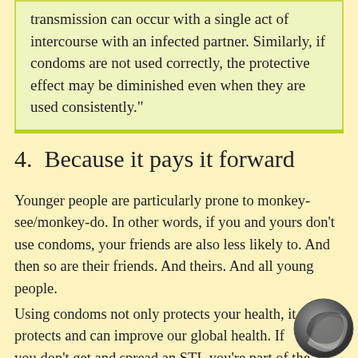transmission can occur with a single act of intercourse with an infected partner. Similarly, if condoms are not used correctly, the protective effect may be diminished even when they are used consistently."
4.  Because it pays it forward
Younger people are particularly prone to monkey-see/monkey-do. In other words, if you and yours don't use condoms, your friends are also less likely to. And then so are their friends. And theirs. And all young people.
Using condoms not only protects your health, it protects and can improve our global health. If you don't get and spread an STI, you're part of the solution to the problem: you, all by yourself,
[Figure (logo): Dark grey and light grey swirling sphere/ball logo in bottom right corner]